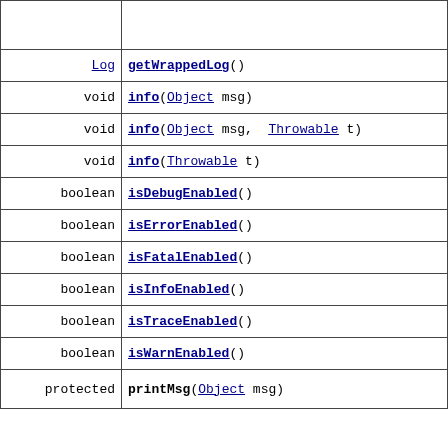| Type | Method |
| --- | --- |
|  |  |
| Log | getWrappedLog() |
| void | info(Object msg) |
| void | info(Object msg, Throwable t) |
| void | info(Throwable t) |
| boolean | isDebugEnabled() |
| boolean | isErrorEnabled() |
| boolean | isFatalEnabled() |
| boolean | isInfoEnabled() |
| boolean | isTraceEnabled() |
| boolean | isWarnEnabled() |
| protected | printMsg(Object msg) |